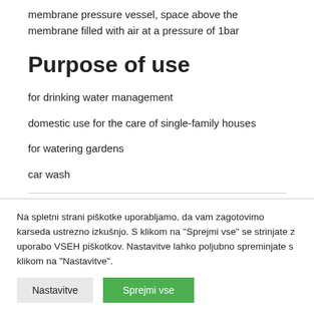membrane pressure vessel, space above the membrane filled with air at a pressure of 1bar
Purpose of use
for drinking water management
domestic use for the care of single-family houses
for watering gardens
car wash
Na spletni strani piškotke uporabljamo, da vam zagotovimo karseda ustrezno izkušnjo. S klikom na "Sprejmi vse" se strinjate z uporabo VSEH piškotkov. Nastavitve lahko poljubno spreminjate s klikom na "Nastavitve".
Nastavitve | Sprejmi vse